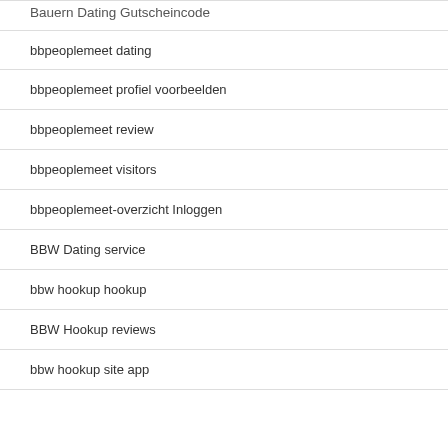Bauern Dating Gutscheincode
bbpeoplemeet dating
bbpeoplemeet profiel voorbeelden
bbpeoplemeet review
bbpeoplemeet visitors
bbpeoplemeet-overzicht Inloggen
BBW Dating service
bbw hookup hookup
BBW Hookup reviews
bbw hookup site app